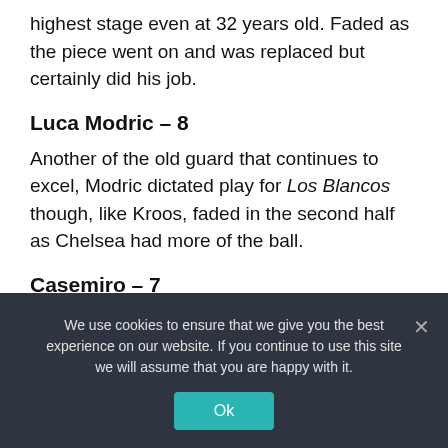highest stage even at 32 years old. Faded as the piece went on and was replaced but certainly did his job.
Luca Modric – 8
Another of the old guard that continues to excel, Modric dictated play for Los Blancos though, like Kroos, faded in the second half as Chelsea had more of the ball.
Casemiro – 7
We use cookies to ensure that we give you the best experience on our website. If you continue to use this site we will assume that you are happy with it.